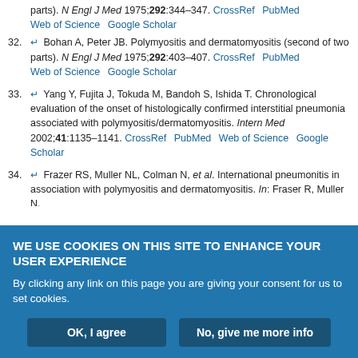parts). N Engl J Med 1975;292:344–347. CrossRef PubMed Web of Science Google Scholar
32. ↵ Bohan A, Peter JB. Polymyositis and dermatomyositis (second of two parts). N Engl J Med 1975;292:403–407. CrossRef PubMed Web of Science Google Scholar
33. ↵ Yang Y, Fujita J, Tokuda M, Bandoh S, Ishida T. Chronological evaluation of the onset of histologically confirmed interstitial pneumonia associated with polymyositis/dermatomyositis. Intern Med 2002;41:1135–1141. CrossRef PubMed Web of Science Google Scholar
34. ↵ Frazer RS, Muller NL, Colman N, et al. International pneumonitis in association with polymyositis and dermatomyositis. In: Fraser R, Muller N, Colman N, Pare P, eds. Diagnosis Of Diseases Of The Chest. London...
WE USE COOKIES ON THIS SITE TO ENHANCE YOUR USER EXPERIENCE
By clicking any link on this page you are giving your consent for us to set cookies.